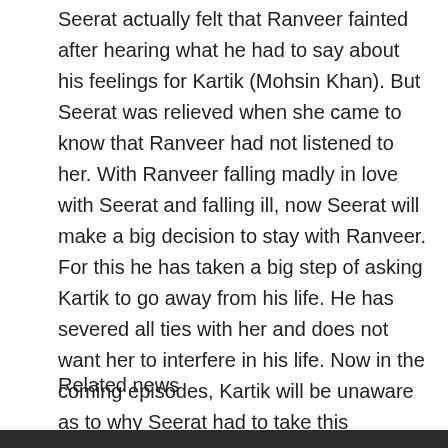Seerat actually felt that Ranveer fainted after hearing what he had to say about his feelings for Kartik (Mohsin Khan). But Seerat was relieved when she came to know that Ranveer had not listened to her. With Ranveer falling madly in love with Seerat and falling ill, now Seerat will make a big decision to stay with Ranveer. For this he has taken a big step of asking Kartik to go away from his life. He has severed all ties with her and does not want her to interfere in his life. Now in the coming episodes, Kartik will be unaware as to why Seerat had to take this decision. He would feel that whatever Chauhan said, he spoke to her. However, Kartik has to wonder why Seerat had to agree to do so. Kartik will also miss Seerat now and will get lost in the moments spent with her.
Related news